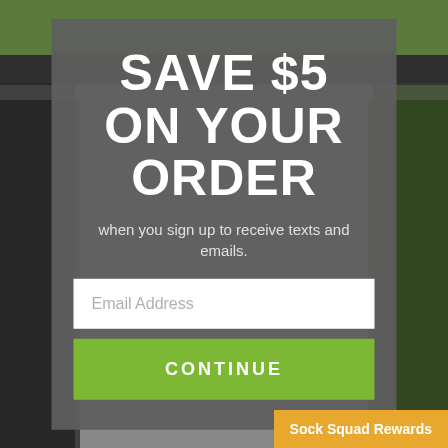[Figure (screenshot): Background of a webpage partially visible with green header bar, dark navigation bar, dark sidebar images, and body text, all blurred/dimmed behind a modal overlay.]
SAVE $5 ON YOUR ORDER
when you sign up to receive texts and emails.
Email Address
CONTINUE
Sock Squad Rewards